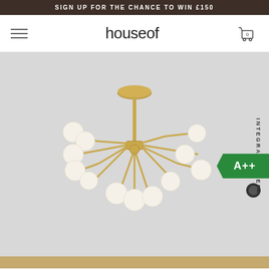SIGN UP FOR THE CHANCE TO WIN £150
[Figure (logo): houseof brand logo with hamburger menu on left and shopping cart icon (0) on right]
[Figure (photo): A modern brass sputnik chandelier with multiple arms ending in frosted globe bulbs, shown against a light grey background. Energy rating label A++ visible on right side. Rotated text reads INTEGRATED LED.]